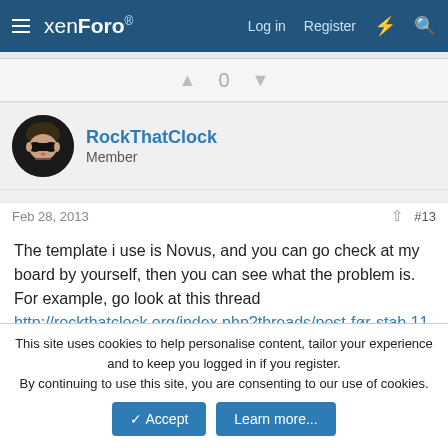xenForo — Log in  Register
0
RockThatClock
Member
Feb 28, 2013   #13
The template i use is Novus, and you can go check at my board by yourself, then you can see what the problem is. For example, go look at this thread http://rockthatclock.org/index.php?threads/post-før-stab.11
0
This site uses cookies to help personalise content, tailor your experience and to keep you logged in if you register.
By continuing to use this site, you are consenting to our use of cookies.